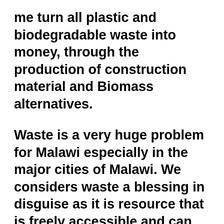me turn all plastic and biodegradable waste into money, through the production of construction material and Biomass alternatives.
Waste is a very huge problem for Malawi especially in the major cities of Malawi. We considers waste a blessing in disguise as it is resource that is freely accessible and can be used as a resource for many environmentally friendly products such as bricks, blocks among other infrastructural materials. The process of coming up with such products, create Jobs for young people